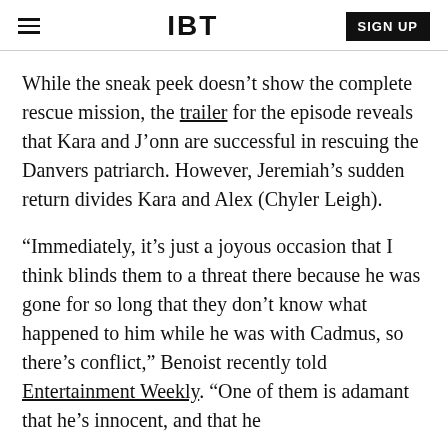IBT | SIGN UP
While the sneak peek doesn't show the complete rescue mission, the trailer for the episode reveals that Kara and J'onn are successful in rescuing the Danvers patriarch. However, Jeremiah's sudden return divides Kara and Alex (Chyler Leigh).
“Immediately, it’s just a joyous occasion that I think blinds them to a threat there because he was gone for so long that they don’t know what happened to him while he was with Cadmus, so there’s conflict,” Benoist recently told Entertainment Weekly. “One of them is adamant that he’s innocent, and that he